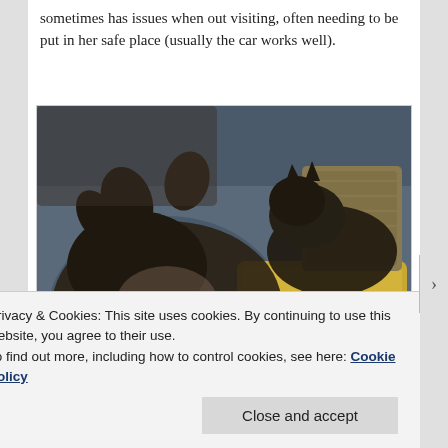sometimes has issues when out visiting, often needing to be put in her safe place (usually the car works well).
[Figure (photo): Two dark-colored cats lying on a grey leather couch/sofa with colorful pillows (yellow and blue satin pillows) beside them.]
[Figure (photo): Partial view of a room with wooden furniture, partially visible at the bottom of the page.]
Privacy & Cookies: This site uses cookies. By continuing to use this website, you agree to their use.
To find out more, including how to control cookies, see here: Cookie Policy